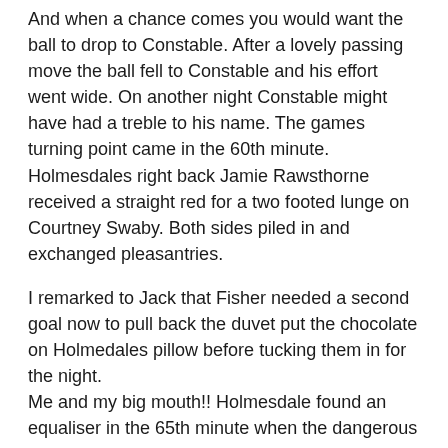And when a chance comes you would want the ball to drop to Constable. After a lovely passing move the ball fell to Constable and his effort went wide. On another night Constable might have had a treble to his name. The games turning point came in the 60th minute. Holmesdales right back Jamie Rawsthorne received a straight red for a two footed lunge on Courtney Swaby. Both sides piled in and exchanged pleasantries.
I remarked to Jack that Fisher needed a second goal now to pull back the duvet put the chocolate on Holmedales pillow before tucking them in for the night. Me and my big mouth!! Holmesdale found an equaliser in the 65th minute when the dangerous Punselie fired home at the far post. 1-1 [Watch the Fish goal here: https://twitter.com/i/status/1438229511502434310]
Holmsdale make a double sub to get some life into a